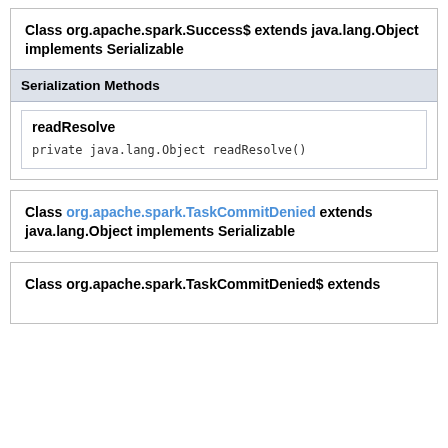Class org.apache.spark.Success$ extends java.lang.Object implements Serializable
Serialization Methods
readResolve
private java.lang.Object readResolve()
Class org.apache.spark.TaskCommitDenied extends java.lang.Object implements Serializable
Class org.apache.spark.TaskCommitDenied$ extends